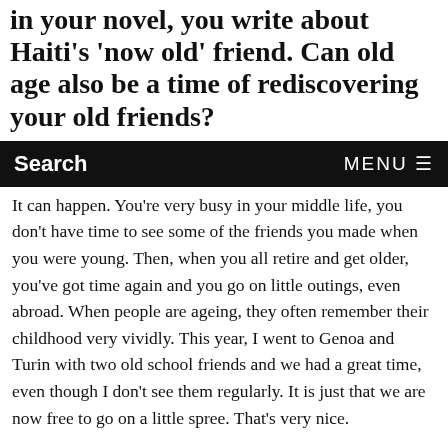in your novel, you write about Haiti's 'now old' friend. Can old age also be a time of rediscovering your old friends?
Search   MENU
It can happen. You're very busy in your middle life, you don't have time to see some of the friends you made when you were young. Then, when you all retire and get older, you've got time again and you go on little outings, even abroad. When people are ageing, they often remember their childhood very vividly. This year, I went to Genoa and Turin with two old school friends and we had a great time, even though I don't see them regularly. It is just that we are now free to go on a little spree. That's very nice.
One of the real silver linings of your novel is the idea of there being some kind of afterlife in one's work. There's that very touching moment when Josephine is researching an obscure novelist and comes